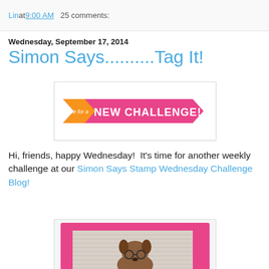Lin at 9:00 AM   25 comments:
Wednesday, September 17, 2014
Simon Says..........Tag It!
[Figure (illustration): Banner graphic: it's time for a NEW CHALLENGE! in pink and orange ribbon design]
Hi, friends, happy Wednesday!  It's time for another weekly challenge at our Simon Says Stamp Wednesday Challenge Blog!
[Figure (illustration): Stamp-shaped card with pink perforated border featuring a cartoon dog with glasses on a wood-grain background]